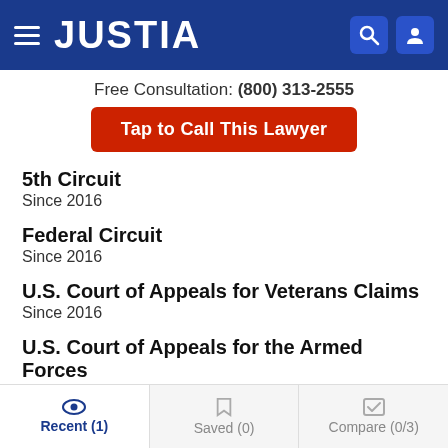JUSTIA
Free Consultation: (800) 313-2555
Tap to Call This Lawyer
5th Circuit
Since 2016
Federal Circuit
Since 2016
U.S. Court of Appeals for Veterans Claims
Since 2016
U.S. Court of Appeals for the Armed Forces
Since 2016
Recent (1)  Saved (0)  Compare (0/3)